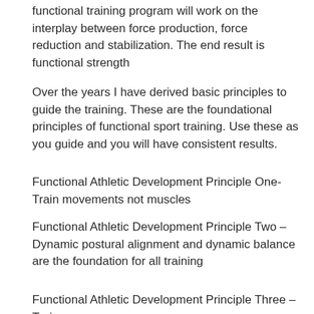functional training program will work on the interplay between force production, force reduction and stabilization. The end result is functional strength
Over the years I have derived basic principles to guide the training. These are the foundational principles of functional sport training. Use these as you guide and you will have consistent results.
Functional Athletic Development Principle One- Train movements not muscles
Functional Athletic Development Principle Two – Dynamic postural alignment and dynamic balance are the foundation for all training
Functional Athletic Development Principle Three – Train